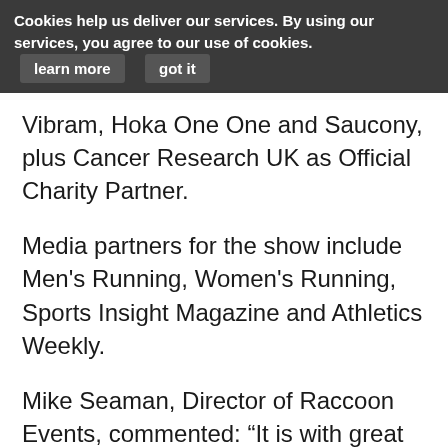Cookies help us deliver our services. By using our services, you agree to our use of cookies. learn more got it
Vibram, Hoka One One and Saucony, plus Cancer Research UK as Official Charity Partner.
Media partners for the show include Men’s Running, Women’s Running, Sports Insight Magazine and Athletics Weekly.
Mike Seaman, Director of Raccoon Events, commented: “It is with great pleasure that we welcome The Sports Dietitian as sponsor of the Nutrition Advice Zone and seven further exhibitors for The National Running Show. These new additions to the